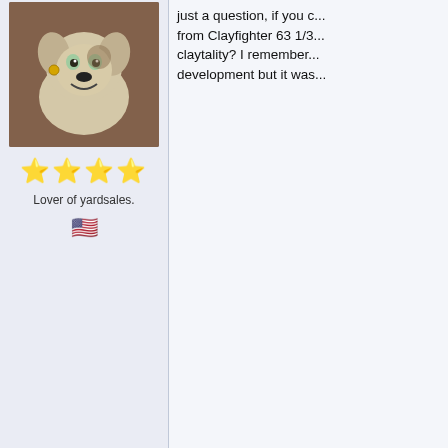[Figure (illustration): Cartoon dog avatar from animated movie, smiling character with earring]
[Figure (other): Four yellow/gold star rating icons]
Lover of yardsales.
[Figure (other): US flag emoji]
just a question, if you could bring a character from Clayfighter 63 1/3 back with a claytality? I remember it was in development but it was...
Bad Mr. Basara
Re: ClayFighter: Infinite
[Figure (illustration): Snow King character - large muscular snowman with hat from ClayFighter video game]
[Figure (other): Mixed star rating icons - blue star, yellow star, trophy, yellow stars]
The Snow King of North Pole
We both can't be Kings, tubby. There can be only 1
I don't think so, that's n... Eventually in a future b... and try to make that, b... Not even to make the s... least)
And about the fullgame...
[Figure (screenshot): Green background game screenshot partially visible]